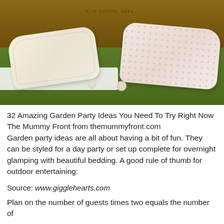[Figure (photo): Outdoor garden party setup on green grass with decorative pillows/cushions — a cream/yellow textured pillow on the left and a pink patterned pillow on the right, both resting on white lace cloth, against a wooden background with a partially visible sign reading 'ELIE GROVE 48X4']
32 Amazing Garden Party Ideas You Need To Try Right Now
The Mummy Front from themummyfront.com
Garden party ideas are all about having a bit of fun. They can be styled for a day party or set up complete for overnight glamping with beautiful bedding. A good rule of thumb for outdoor entertaining:
Source: www.gigglehearts.com
Plan on the number of guests times two equals the number of